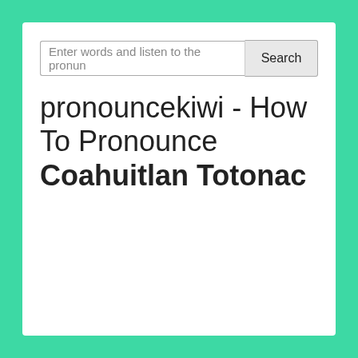[Figure (screenshot): Search input box with placeholder text 'Enter words and listen to the pronun' and a Search button]
pronouncekiwi - How To Pronounce Coahuitlan Totonac